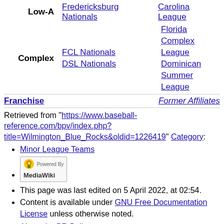| Low-A | Fredericksburg Nationals | Carolina League |
| Complex | FCL Nationals | Florida Complex League |
|  | DSL Nationals | Dominican Summer League |
Franchise | Former Affiliates
Retrieved from "https://www.baseball-reference.com/bpv/index.php?title=Wilmington_Blue_Rocks&oldid=1226419"
Category:
Minor League Teams
[MediaWiki powered badge]
This page was last edited on 5 April 2022, at 02:54.
Content is available under GNU Free Documentation License unless otherwise noted.
About the BR Bullpen
Disclaimers
Welcome  · Your Account
Logout
Login
Create Account